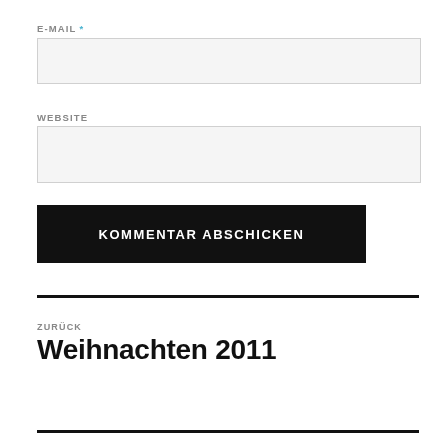E-MAIL *
[Figure (other): Empty email input text field with light gray background]
WEBSITE
[Figure (other): Empty website input text field with light gray background]
KOMMENTAR ABSCHICKEN
ZURÜCK
Weihnachten 2011